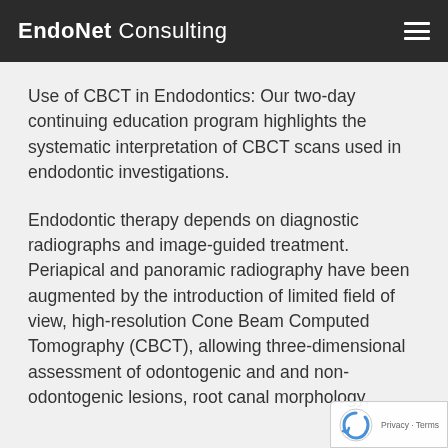EndoNet Consulting
Use of CBCT in Endodontics: Our two-day continuing education program highlights the systematic interpretation of CBCT scans used in endodontic investigations.
Endodontic therapy depends on diagnostic radiographs and image-guided treatment. Periapical and panoramic radiography have been augmented by the introduction of limited field of view, high-resolution Cone Beam Computed Tomography (CBCT), allowing three-dimensional assessment of odontogenic and and non-odontogenic lesions, root canal morphology,